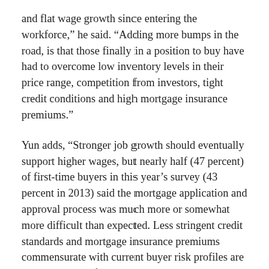and flat wage growth since entering the workforce,” he said. “Adding more bumps in the road, is that those finally in a position to buy have had to overcome low inventory levels in their price range, competition from investors, tight credit conditions and high mortgage insurance premiums.”
Yun adds, “Stronger job growth should eventually support higher wages, but nearly half (47 percent) of first-time buyers in this year’s survey (43 percent in 2013) said the mortgage application and approval process was much more or somewhat more difficult than expected. Less stringent credit standards and mortgage insurance premiums commensurate with current buyer risk profiles are needed to boost first-time buyer participation, especially with interest rates likely rising in upcoming years.”
The household composition of buyers responding to the survey was mostly unchanged from a year ago. Sixty-five percent of buyers were married couples, 16 percent single